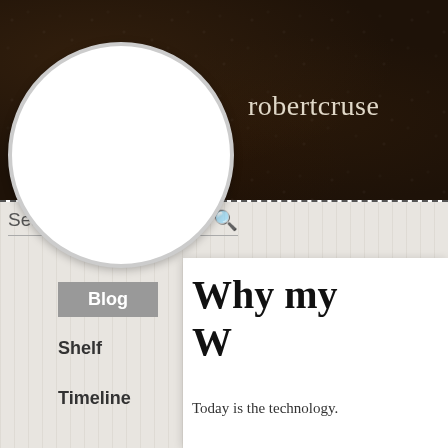[Figure (screenshot): Screenshot of a blog/social profile page showing a dark leather-textured header with username 'robertcruse', a white circular avatar placeholder on the left, a light grey striped sidebar with search bar and navigation buttons (Blog, Shelf, Timeline), and a white content area showing a blog post beginning with 'Why my W...' and 'Today is the technology...']
robertcruse
Search
Blog
Shelf
Timeline
Why my W
Today is the technology.